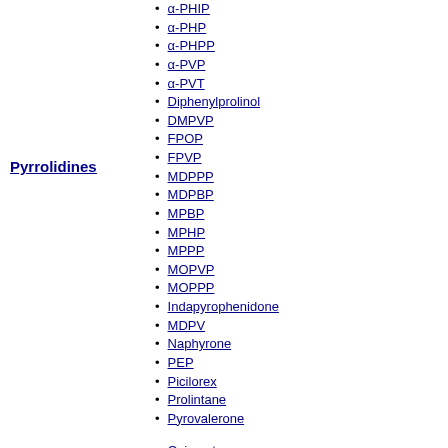Pyrrolidines
α-PHIP
α-PHP
α-PHPP
α-PVP
α-PVT
Diphenylprolinol
DMPVP
FPOP
FPVP
MDPPP
MDPBP
MPBP
MPHP
MPPP
MOPVP
MOPPP
Indapyrophenidone
MDPV
Naphyrone
PEP
Picilorex
Prolintane
Pyrovalerone
Oxiracetam
Phenylpiracetam